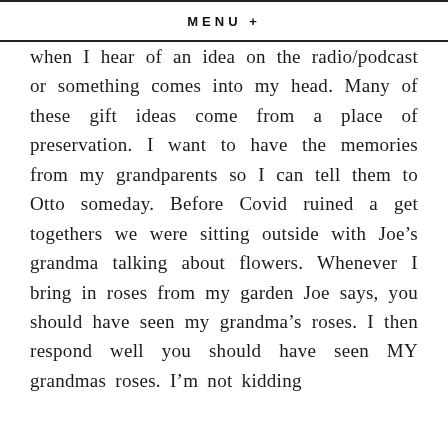MENU +
when I hear of an idea on the radio/podcast or something comes into my head. Many of these gift ideas come from a place of preservation. I want to have the memories from my grandparents so I can tell them to Otto someday. Before Covid ruined a get togethers we were sitting outside with Joe's grandma talking about flowers. Whenever I bring in roses from my garden Joe says, you should have seen my grandma's roses. I then respond well you should have seen MY grandmas roses. I'm not kidding